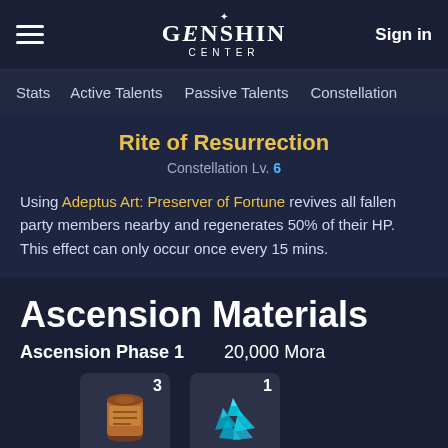Genshin Center — Sign in
Stats | Active Talents | Passive Talents | Constellation
Rite of Resurrection
Constellation Lv. 6
Using Adeptus Art: Preserver of Fortune revives all fallen party members nearby and regenerates 50% of their HP.
This effect can only occur once every 15 mins.
Ascension Materials
Ascension Phase 1 — 20,000 Mora
[Figure (illustration): Item icon: scroll with count 3]
[Figure (illustration): Item icon: crystal with count 1]